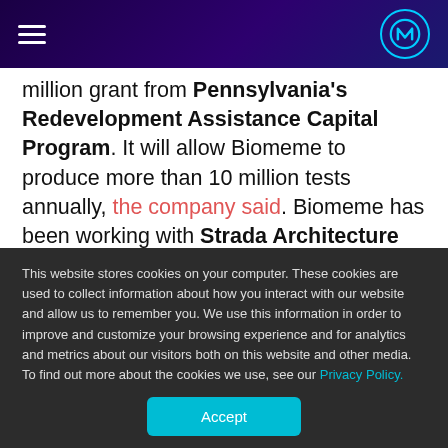[Navigation header with hamburger menu and Nieman Lab logo]
million grant from Pennsylvania's Redevelopment Assistance Capital Program. It will allow Biomeme to produce more than 10 million tests annually, the company said. Biomeme has been working with Strada Architecture LLC to build out the space to meet all of its office, manufacturing and lab needs.

“The pandemic response has catalyzed growth and expansion quite a bit,” Max Perelman, cofounder and
This website stores cookies on your computer. These cookies are used to collect information about how you interact with our website and allow us to remember you. We use this information in order to improve and customize your browsing experience and for analytics and metrics about our visitors both on this website and other media. To find out more about the cookies we use, see our Privacy Policy.